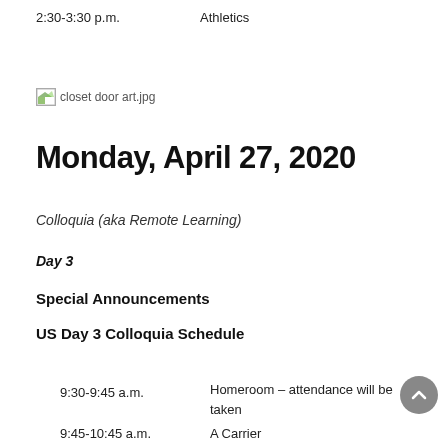2:30-3:30 p.m.    Athletics
[Figure (photo): Broken image placeholder labeled 'closet door art.jpg']
Monday, April 27, 2020
Colloquia (aka Remote Learning)
Day 3
Special Announcements
US Day 3 Colloquia Schedule
9:30-9:45 a.m.    Homeroom – attendance will be taken
9:45-10:45 a.m.    A Carrier